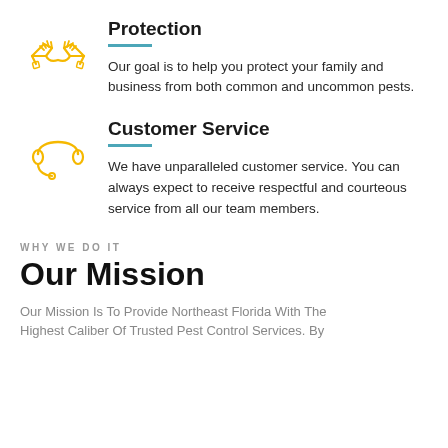[Figure (illustration): Yellow line-art handshake icon]
Protection
Our goal is to help you protect your family and business from both common and uncommon pests.
[Figure (illustration): Yellow line-art headset/customer service icon]
Customer Service
We have unparalleled customer service. You can always expect to receive respectful and courteous service from all our team members.
WHY WE DO IT
Our Mission
Our Mission Is To Provide Northeast Florida With The Highest Caliber Of Trusted Pest Control Services. By